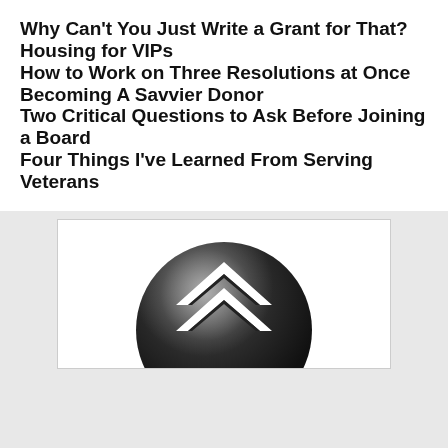Why Can't You Just Write a Grant for That?
Housing for VIPs
How to Work on Three Resolutions at Once
Becoming A Savvier Donor
Two Critical Questions to Ask Before Joining a Board
Four Things I've Learned From Serving Veterans
[Figure (logo): Circular black glossy button/logo with a white chevron/house arrow symbol in the center]